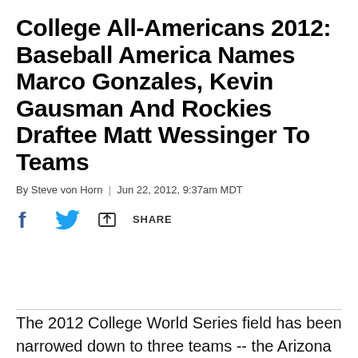College All-Americans 2012: Baseball America Names Marco Gonzales, Kevin Gausman And Rockies Draftee Matt Wessinger To Teams
By Steve von Horn  |  Jun 22, 2012, 9:37am MDT
[Figure (other): Social sharing bar with Facebook icon, Twitter bird icon, and a share/upload icon followed by SHARE text]
The 2012 College World Series field has been narrowed down to three teams -- the Arizona Wildcats